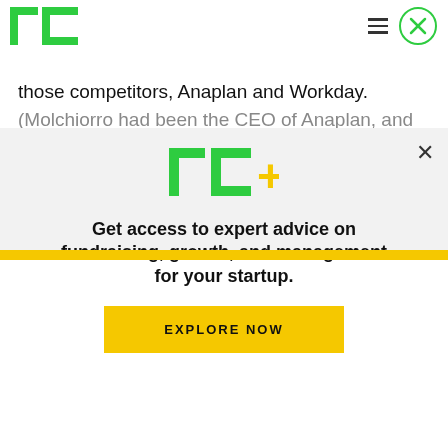TechCrunch
those competitors, Anaplan and Workday. (Molchiorro had been the CEO of Anaplan, and
[Figure (logo): TC+ logo with green TC letters and yellow plus sign]
Get access to expert advice on fundraising, growth, and management for your startup.
EXPLORE NOW